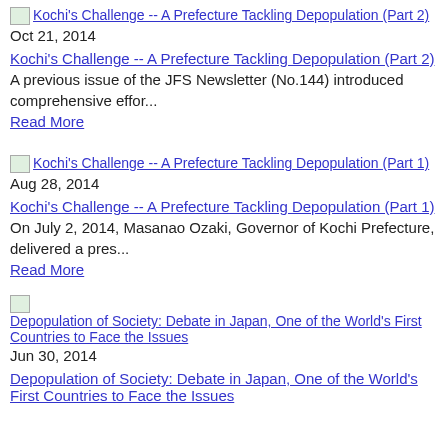Kochi's Challenge -- A Prefecture Tackling Depopulation (Part 2)
Oct 21, 2014
Kochi's Challenge -- A Prefecture Tackling Depopulation (Part 2)
A previous issue of the JFS Newsletter (No.144) introduced comprehensive effor...
Read More
Kochi's Challenge -- A Prefecture Tackling Depopulation (Part 1)
Aug 28, 2014
Kochi's Challenge -- A Prefecture Tackling Depopulation (Part 1)
On July 2, 2014, Masanao Ozaki, Governor of Kochi Prefecture, delivered a pres...
Read More
Depopulation of Society: Debate in Japan, One of the World's First Countries to Face the Issues
Jun 30, 2014
Depopulation of Society: Debate in Japan, One of the World's First Countries to Face the Issues